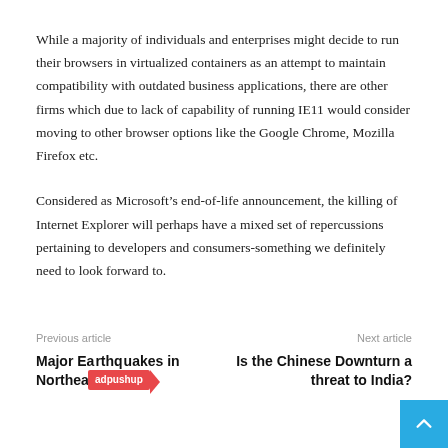While a majority of individuals and enterprises might decide to run their browsers in virtualized containers as an attempt to maintain compatibility with outdated business applications, there are other firms which due to lack of capability of running IE11 would consider moving to other browser options like the Google Chrome, Mozilla Firefox etc.
Considered as Microsoft’s end-of-life announcement, the killing of Internet Explorer will perhaps have a mixed set of repercussions pertaining to developers and consumers-something we definitely need to look forward to.
Previous article: Major Earthquakes in Northeast India | Next article: Is the Chinese Downturn a threat to India?